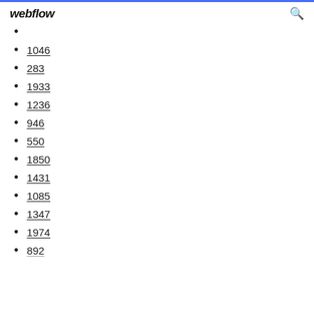webflow
1046
283
1933
1236
946
550
1850
1431
1085
1347
1974
892